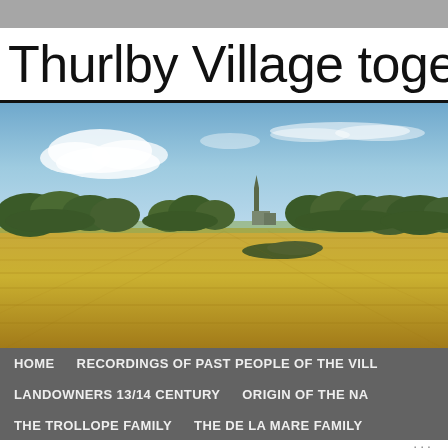Thurlby Village together w
[Figure (photo): Panoramic photograph of a flat agricultural field with golden/yellow crops in the foreground, a treeline in the mid-distance with a church spire visible, and a bright blue sky with scattered clouds above.]
HOME
RECORDINGS OF PAST PEOPLE OF THE VILL
LANDOWNERS 13/14 CENTURY
ORIGIN OF THE NA
THE TROLLOPE FAMILY
THE DE LA MARE FAMILY